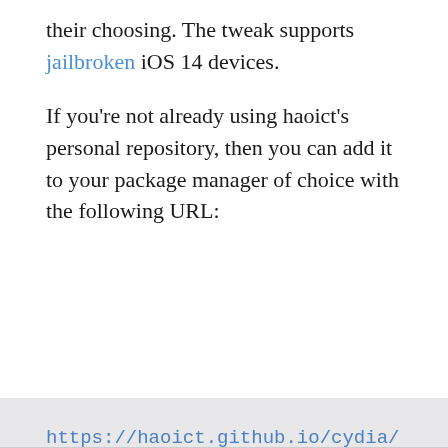their choosing. The tweak supports jailbroken iOS 14 devices.
If you’re not already using haoict’s personal repository, then you can add it to your package manager of choice with the following URL:
https://haoict.github.io/cydia/
Will you be downloading The Shy on your jailbroken iPhone or iPad? Let us know why or why not in the comments section down below.